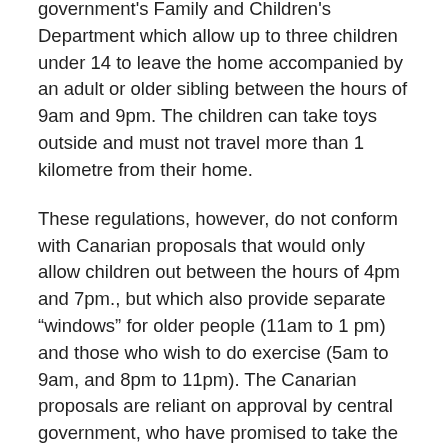government's Family and Children's Department which allow up to three children under 14 to leave the home accompanied by an adult or older sibling between the hours of 9am and 9pm. The children can take toys outside and must not travel more than 1 kilometre from their home.
These regulations, however, do not conform with Canarian proposals that would only allow children out between the hours of 4pm and 7pm., but which also provide separate “windows” for older people (11am to 1 pm) and those who wish to do exercise (5am to 9am, and 8pm to 11pm). The Canarian proposals are reliant on approval by central government, who have promised to take the regions into account in their new decree.
Canarian health councillor Julio Pérez said yesterday that central government’s initial response to the proposals had been “reasonable”, but that the measures, if approved, would be introduced in successive stages.